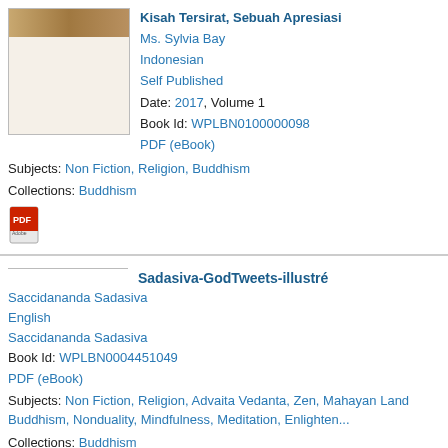[Figure (photo): Book cover thumbnail for Kisah Tersirat, Sebuah Apresiasi — brown/tan tones]
Kisah Tersirat, Sebuah Apresiasi
Ms. Sylvia Bay
Indonesian
Self Published
Date: 2017, Volume 1
Book Id: WPLBN0100000098
PDF (eBook)
Subjects: Non Fiction, Religion, Buddhism
Collections: Buddhism
[Figure (other): PDF icon (red Adobe PDF style icon)]
Sadasiva-GodTweets-illustré
Saccidananda Sadasiva
English
Saccidananda Sadasiva
Book Id: WPLBN0004451049
PDF (eBook)
Subjects: Non Fiction, Religion, Advaita Vedanta, Zen, Mahayan Land Buddhism, Nonduality, Mindfulness, Meditation, Enlighten...
Collections: Buddhism